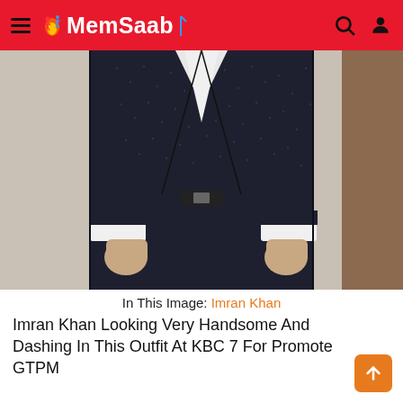MemSaab
[Figure (photo): A man wearing a dark navy/black embellished velvet blazer with white dress shirt cuffs visible, standing in front of a beige wall. Only the torso and hands are visible.]
In This Image: Imran Khan
Imran Khan Looking Very Handsome And Dashing In This Outfit At KBC 7 For Promote GTPM